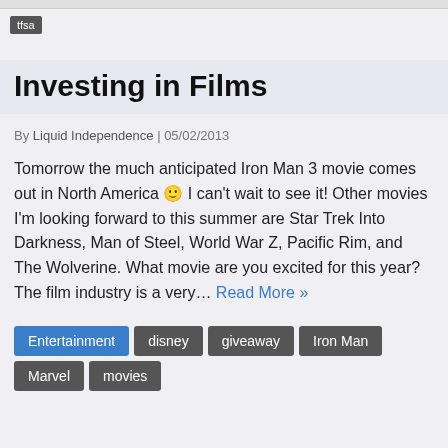tfsa
Investing in Films
By Liquid Independence | 05/02/2013
Tomorrow the much anticipated Iron Man 3 movie comes out in North America 😊 I can't wait to see it! Other movies I'm looking forward to this summer are Star Trek Into Darkness, Man of Steel, World War Z, Pacific Rim, and The Wolverine. What movie are you excited for this year? The film industry is a very… Read More »
Entertainment
disney
giveaway
Iron Man
Marvel
movies